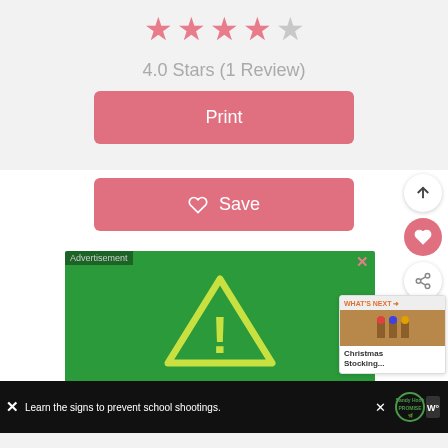[Figure (infographic): Five-star rating display showing 4 filled pink stars and 1 gray empty star]
4.0 Stars (1 Review)
[Figure (screenshot): Pink 'Print' button]
[Figure (screenshot): Pink 'Save' button with heart icon]
[Figure (infographic): Advertisement banner: green background with yellow warning triangle icon and text 'Gun violence is preventable when you know the signs.' Sandy Hook Promise ad]
[Figure (infographic): Bottom black advertisement bar: 'Learn the signs to prevent school shootings.' Sandy Hook Promise logo]